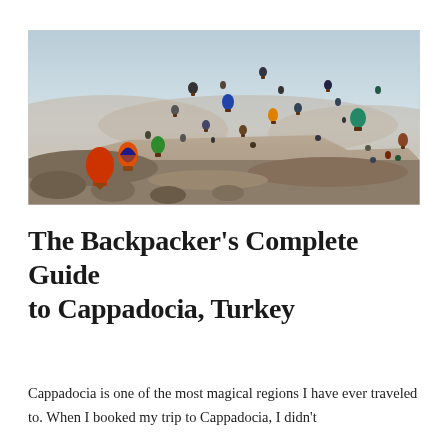[Figure (photo): Wide panoramic photo of Cappadocia, Turkey, showing dozens of colorful hot air balloons floating over rocky desert landscape under a hazy blue sky at sunrise.]
The Backpacker’s Complete Guide to Cappadocia, Turkey
Cappadocia is one of the most magical regions I have ever traveled to. When I booked my trip to Cappadocia, I didn’t